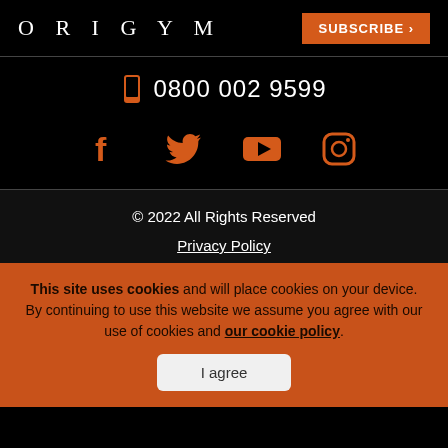ORIGYM | SUBSCRIBE >
0800 002 9599
[Figure (other): Social media icons: Facebook, Twitter, YouTube, Instagram in orange]
© 2022 All Rights Reserved
Privacy Policy
This site uses cookies and will place cookies on your device. By continuing to use this website we assume you agree with our use of cookies and our cookie policy.
I agree